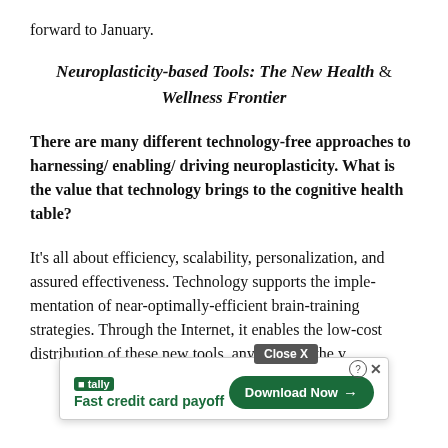forward to January.
Neuroplasticity-based Tools: The New Health & Wellness Frontier
There are many different technology-free approaches to harnessing/ enabling/ driving neuroplasticity. What is the value that technology brings to the cognitive health table?
It's all about efficiency, scalability, personalization, and assured effectiveness. Technology supports the implementation of near-optimally-efficient brain-training strategies. Through the Internet, it enables the low-cost distribution of these new tools, anywhere in the world... ation of br... to
[Figure (other): Advertisement overlay: Close X button, Tally app logo with 'Fast credit card payoff' tagline, help/close icons, and a green 'Download Now' button]